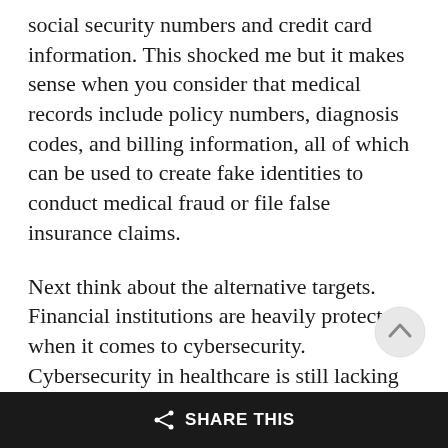social security numbers and credit card information. This shocked me but it makes sense when you consider that medical records include policy numbers, diagnosis codes, and billing information, all of which can be used to create fake identities to conduct medical fraud or file false insurance claims.
Next think about the alternative targets. Financial institutions are heavily protected when it comes to cybersecurity. Cybersecurity in healthcare is still lacking so it's easier for cyber criminals to get into their internal networks.
SHARE THIS